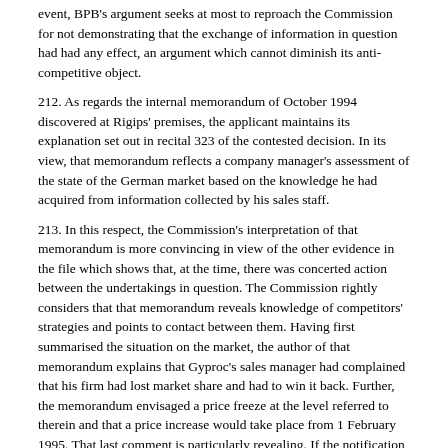event, BPB's argument seeks at most to reproach the Commission for not demonstrating that the exchange of information in question had had any effect, an argument which cannot diminish its anti-competitive object.
212. As regards the internal memorandum of October 1994 discovered at Rigips' premises, the applicant maintains its explanation set out in recital 323 of the contested decision. In its view, that memorandum reflects a company manager's assessment of the state of the German market based on the knowledge he had acquired from information collected by his sales staff.
213. In this respect, the Commission's interpretation of that memorandum is more convincing in view of the other evidence in the file which shows that, at the time, there was concerted action between the undertakings in question. The Commission rightly considers that that memorandum reveals knowledge of competitors' strategies and points to contact between them. Having first summarised the situation on the market, the author of that memorandum explains that Gyproc's sales manager had complained that his firm had lost market share and had to win it back. Further, the memorandum envisaged a price freeze at the level referred to therein and that a price increase would take place from 1 February 1995. That last comment is particularly revealing. If the notification of the price rise announcements by Knauf were unilateral and if BPB was merely following that price rise, BPB could not have known in October 1994 that a price rise was planned for 1 February 1995, given that Knauf announced that price rise only in November 1994. Furthermore, if, as BPB claims, it had